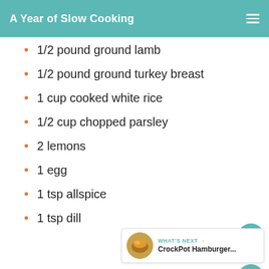A Year of Slow Cooking
1/2 pound ground lamb
1/2 pound ground turkey breast
1 cup cooked white rice
1/2 cup chopped parsley
2 lemons
1 egg
1 tsp allspice
1 tsp dill
WHAT'S NEXT → CrockPot Hamburger...